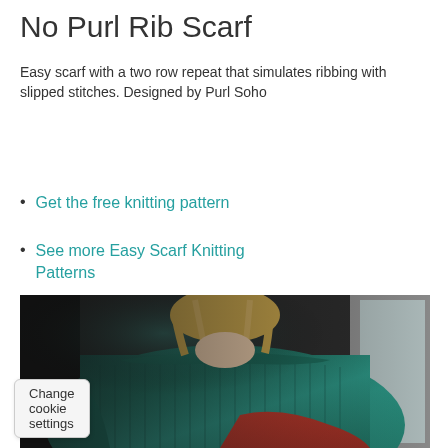No Purl Rib Scarf
Easy scarf with a two row repeat that simulates ribbing with slipped stitches. Designed by Purl Soho
Get the free knitting pattern
See more Easy Scarf Knitting Patterns
[Figure (photo): Woman wearing a teal/green chunky knit poncho scarf with a red long-sleeve shirt underneath, standing indoors]
Change cookie settings